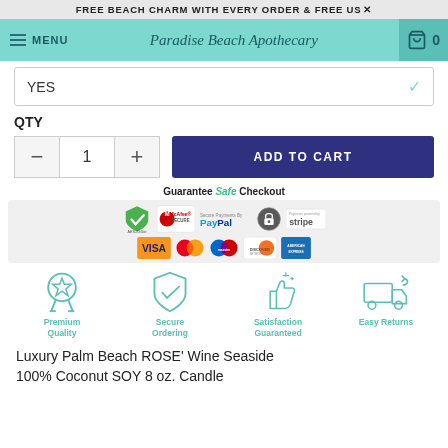FREE BEACH CHARM WITH EVERY ORDER & FREE US×
MENU  Paradise Beach Apothecary  0
YES
QTY
1
ADD TO CART
[Figure (infographic): Guarantee Safe Checkout badge with McAfee Secure, PayPal, Stripe, AES-256bit, Visa, MasterCard, Maestro, Discover, American Express logos]
[Figure (infographic): Four trust icons: Premium Quality (medal icon), Secure Ordering (shield icon), Satisfaction Guaranteed (thumbs up icon), Easy Returns (delivery truck icon)]
Luxury Palm Beach ROSE' Wine Seaside 100% Coconut SOY 8 oz. Candle